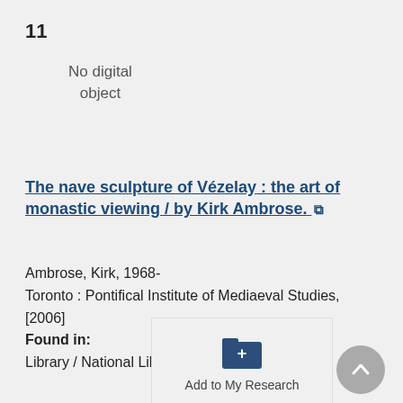11
No digital object
The nave sculpture of Vézelay : the art of monastic viewing / by Kirk Ambrose.
Ambrose, Kirk, 1968-
Toronto : Pontifical Institute of Mediaeval Studies, [2006]
Found in:
Library / National Library Collections
Add to My Research